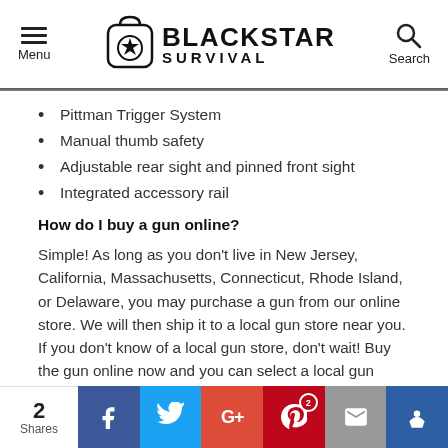Menu | BLACKSTAR SURVIVAL | Search
Pittman Trigger System
Manual thumb safety
Adjustable rear sight and pinned front sight
Integrated accessory rail
How do I buy a gun online?
Simple! As long as you don't live in New Jersey, California, Massachusetts, Connecticut, Rhode Island, or Delaware, you may purchase a gun from our online store. We will then ship it to a local gun store near you. If you don't know of a local gun store, don't wait! Buy the gun online now and you can select a local gun store near you to pick it up.
2 Shares | Facebook | Twitter | Google+ | Pinterest 2 | Email | Crown